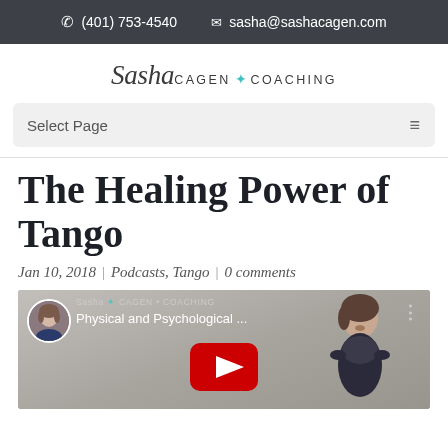(401) 753-4540  sasha@sashacagen.com
[Figure (logo): Sasha Cagen Coaching logo with script 'Sasha' and uppercase CAGEN ✦ COACHING text]
Select Page
The Healing Power of Tango
Jan 10, 2018 | Podcasts, Tango | 0 comments
[Figure (screenshot): YouTube video thumbnail showing a woman with brown hair and a YouTube play button, titled 'Physical and Psychological ...' from Sasha Cagen Coaching channel]